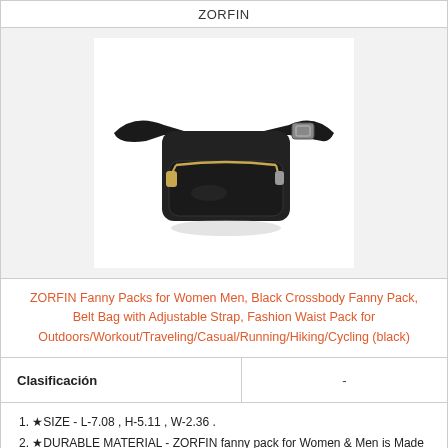ZORFIN
[Figure (photo): A black fanny pack / belt bag with gold zipper pulls and adjustable strap, shown on white background.]
ZORFIN Fanny Packs for Women Men, Black Crossbody Fanny Pack, Belt Bag with Adjustable Strap, Fashion Waist Pack for Outdoors/Workout/Traveling/Casual/Running/Hiking/Cycling (black)
| Clasificación |  |
| --- | --- |
| Clasificación | - |
1. ★SIZE - L-7.08 , H-5.11 , W-2.36 .
2. ★DURABLE MATERIAL - ZORFIN fanny pack for Women & Men is Made of premium Nylon, which